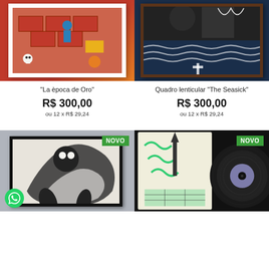[Figure (photo): Colorful artwork print 'La època de Oro' in white frame, showing brick maze with monsters and skulls]
"La època de Oro"
R$ 300,00
ou 12 x R$ 29,24
[Figure (photo): Lenticular framed artwork 'The Seasick' in dark wood frame, blue wave patterns with cross]
Quadro lenticular "The Seasick"
R$ 300,00
ou 12 x R$ 29,24
[Figure (photo): Black and white artwork print in black frame, marked NOVO, with WhatsApp button overlay]
[Figure (photo): Vinyl record album with illustrated cover, marked NOVO, on black background]